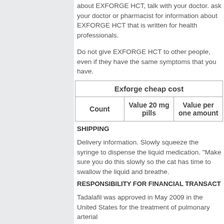about EXFORGE HCT, talk with your doctor. ask your doctor or pharmacist for information about EXFORGE HCT that is written for health professionals.
Do not give EXFORGE HCT to other people, even if they have the same symptoms that you have.
| Count | Value 20 mg pills | Value per one amount |
| --- | --- | --- |
SHIPPING
Delivery information. Slowly squeeze the syringe to dispense the liquid medication. "Make sure you do this slowly so the cat has time to swallow the liquid and breathe.
RESPONSIBILITY FOR FINANCIAL TRANSACTIONS
Tadalafil was approved in May 2009 in the United States for the treatment of pulmonary arterial